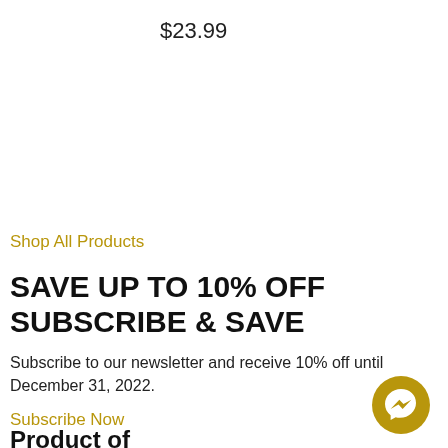$23.99
Shop All Products
SAVE UP TO 10% OFF SUBSCRIBE & SAVE
Subscribe to our newsletter and receive 10% off until December 31, 2022.
Subscribe Now
Product of
[Figure (illustration): Golden circular messenger chat button icon in bottom right corner]